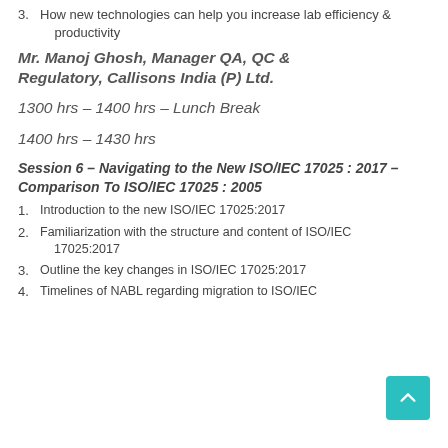3. How new technologies can help you increase lab efficiency & productivity
Mr. Manoj Ghosh, Manager QA, QC & Regulatory, Callisons India (P) Ltd.
1300 hrs – 1400 hrs – Lunch Break
1400 hrs – 1430 hrs
Session 6 – Navigating to the New ISO/IEC 17025 : 2017 – Comparison To ISO/IEC 17025 : 2005
1. Introduction to the new ISO/IEC 17025:2017
2. Familiarization with the structure and content of ISO/IEC 17025:2017
3. Outline the key changes in ISO/IEC 17025:2017
4. Timelines of NABL regarding migration to ISO/IEC